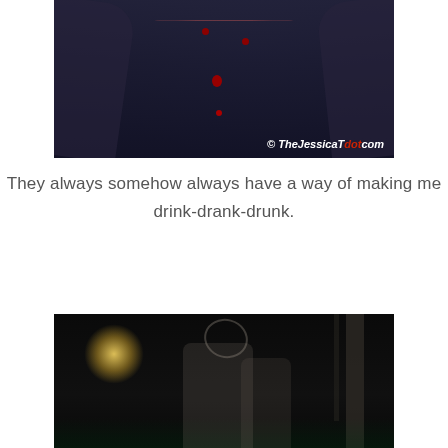[Figure (photo): Close-up photo of a person wearing a dark sparkly dress with a red beaded necklace. Watermark reads '© TheJessicaTdot.com' in bottom right corner.]
They always somehow always have a way of making me drink-drank-drunk.
[Figure (photo): Nighttime outdoor party photo showing people dancing, with a bright light flare in the background and metal truss structure visible.]